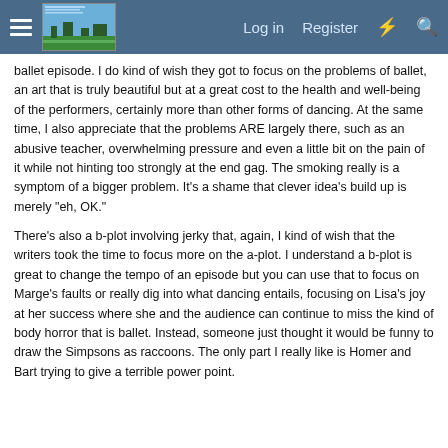Navigation bar with hamburger menu, logo/screenshot image, Log in, Register, and search icons
ballet episode. I do kind of wish they got to focus on the problems of ballet, an art that is truly beautiful but at a great cost to the health and well-being of the performers, certainly more than other forms of dancing. At the same time, I also appreciate that the problems ARE largely there, such as an abusive teacher, overwhelming pressure and even a little bit on the pain of it while not hinting too strongly at the end gag. The smoking really is a symptom of a bigger problem. It's a shame that clever idea's build up is merely "eh, OK."
There's also a b-plot involving jerky that, again, I kind of wish that the writers took the time to focus more on the a-plot. I understand a b-plot is great to change the tempo of an episode but you can use that to focus on Marge's faults or really dig into what dancing entails, focusing on Lisa's joy at her success where she and the audience can continue to miss the kind of body horror that is ballet. Instead, someone just thought it would be funny to draw the Simpsons as raccoons. The only part I really like is Homer and Bart trying to give a terrible power point.